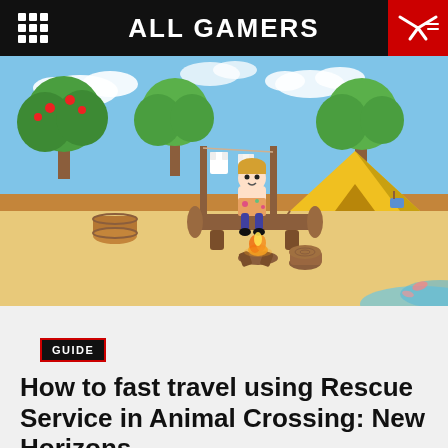ALL GAMERS
[Figure (screenshot): Animal Crossing: New Horizons gameplay screenshot showing a character sitting on a log bench near a campfire on a sandy island beach, with trees, a yellow tent, clothesline, and a wooden barrel in the background.]
GUIDE
How to fast travel using Rescue Service in Animal Crossing: New Horizons
If you get lost, you can call upon the Rescue Service in